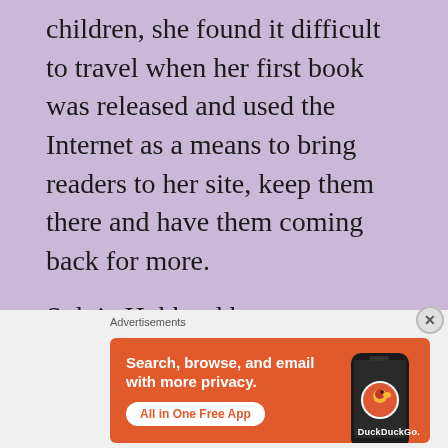children, she found it difficult to travel when her first book was released and used the Internet as a means to bring readers to her site, keep them there and have them coming back for more.
Sylvia Hubbard has independently published 4 paperback books and over 10 e-books. Her foundation genre has always been romance, but she has ventured into
Advertisements
[Figure (infographic): DuckDuckGo advertisement banner with orange background. Left side text reads: 'Search, browse, and email with more privacy. All in One Free App' with a white pill button. Right side shows a smartphone with the DuckDuckGo logo and brand name.]